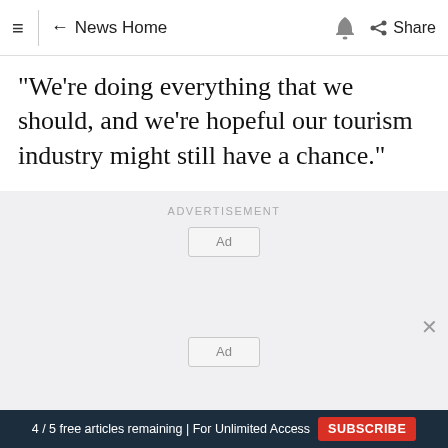≡ ← News Home 🔔 Share
"We're doing everything that we should, and we're hopeful our tourism industry might still have a chance."
[Figure (other): Advertisement placeholder section with 'ADVERTISEMENT' label and two Ad boxes, and a close (X) button]
4 / 5 free articles remaining | For Unlimited Access  SUBSCRIBE